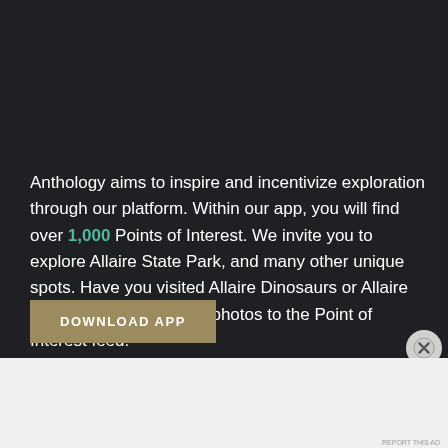Anthology aims to inspire and incentivize exploration through our platform. Within our app, you will find over 1,000 Points of Interest. We invite you to explore Allaire State Park, and many other unique spots. Have you visited Allaire Dinosaurs or Allaire State Park? Share your photos to the Point of Interest feed!
DOWNLOAD APP
[Figure (other): DuckDuckGo advertisement banner: orange section with text 'Search, browse, and email with more privacy. All in One Free App', dark section with DuckDuckGo logo and brand name]